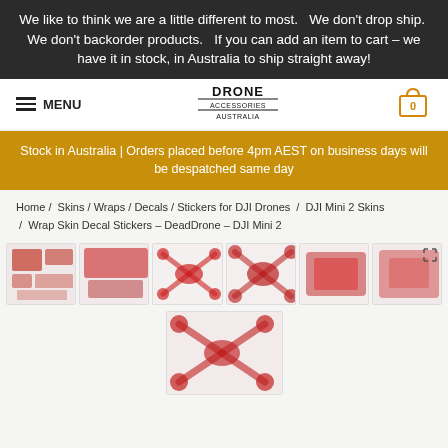We like to think we are a little different to most.   We don't drop ship.  We don't backorder products.   If you can add an item to cart – we have it in stock, in Australia to ship straight away!
[Figure (logo): Drone Accessories Australia logo with hamburger menu and cart icon]
Stock in Australia | Orders placed before 4pm AEST on business days will be despatched same day
Home / Skins / Wraps / Decals / Stickers for DJI Drones / DJI Mini 2 Skins / Wrap Skin Decal Stickers – DeadDrone – DJI Mini 2
[Figure (photo): Product thumbnail images of DJI Mini 2 drone skin wraps in red pattern – 6 thumbnails in a row and 1 below center]